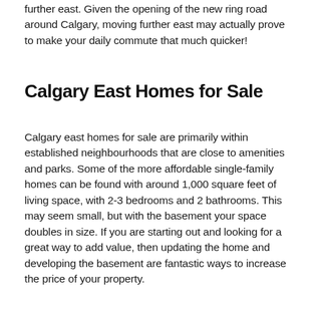further east. Given the opening of the new ring road around Calgary, moving further east may actually prove to make your daily commute that much quicker!
Calgary East Homes for Sale
Calgary east homes for sale are primarily within established neighbourhoods that are close to amenities and parks. Some of the more affordable single-family homes can be found with around 1,000 square feet of living space, with 2-3 bedrooms and 2 bathrooms. This may seem small, but with the basement your space doubles in size. If you are starting out and looking for a great way to add value, then updating the home and developing the basement are fantastic ways to increase the price of your property.